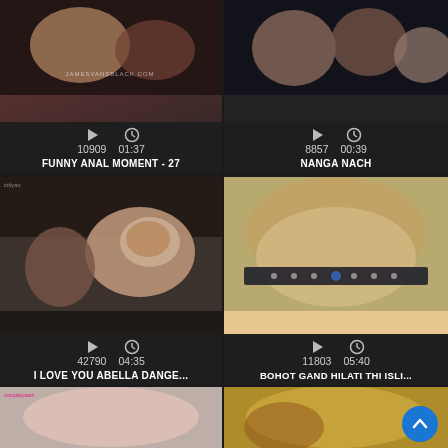[Figure (screenshot): Video thumbnail grid showing adult video listings with thumbnails, view counts, durations, and titles]
10909  01:37
FUNNY ANAL MOMENT - 27
8857  00:39
NANGA NACH
42790  04:35
I LOVE YOU ABELLA DANGE...
11803  05:40
BOHOT GAND HILATI THI ISLI...